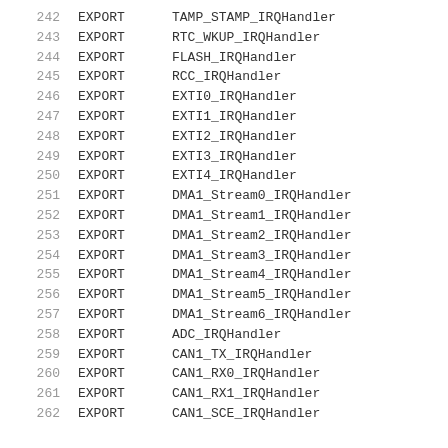242    EXPORT    TAMP_STAMP_IRQHandler
243    EXPORT    RTC_WKUP_IRQHandler
244    EXPORT    FLASH_IRQHandler
245    EXPORT    RCC_IRQHandler
246    EXPORT    EXTI0_IRQHandler
247    EXPORT    EXTI1_IRQHandler
248    EXPORT    EXTI2_IRQHandler
249    EXPORT    EXTI3_IRQHandler
250    EXPORT    EXTI4_IRQHandler
251    EXPORT    DMA1_Stream0_IRQHandler
252    EXPORT    DMA1_Stream1_IRQHandler
253    EXPORT    DMA1_Stream2_IRQHandler
254    EXPORT    DMA1_Stream3_IRQHandler
255    EXPORT    DMA1_Stream4_IRQHandler
256    EXPORT    DMA1_Stream5_IRQHandler
257    EXPORT    DMA1_Stream6_IRQHandler
258    EXPORT    ADC_IRQHandler
259    EXPORT    CAN1_TX_IRQHandler
260    EXPORT    CAN1_RX0_IRQHandler
261    EXPORT    CAN1_RX1_IRQHandler
262    EXPORT    CAN1_SCE_IRQHandler